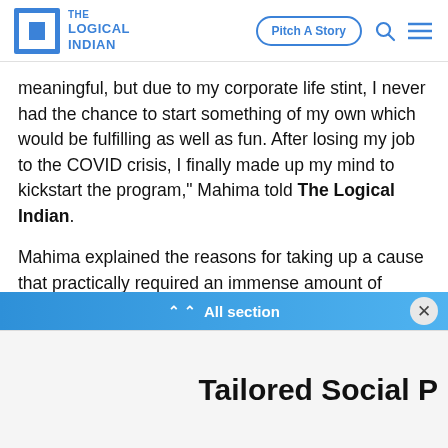The Logical Indian | Pitch A Story
meaningful, but due to my corporate life stint, I never had the chance to start something of my own which would be fulfilling as well as fun. After losing my job to the COVID crisis, I finally made up my mind to kickstart the program," Mahima told The Logical Indian.
Mahima explained the reasons for taking up a cause that practically required an immense amount of patience especially when it had to be conducted virtually.
"I wanted to find happiness in what I do. My family encouraged me to start The Social Paathshala as they
All section
Tailored Social P